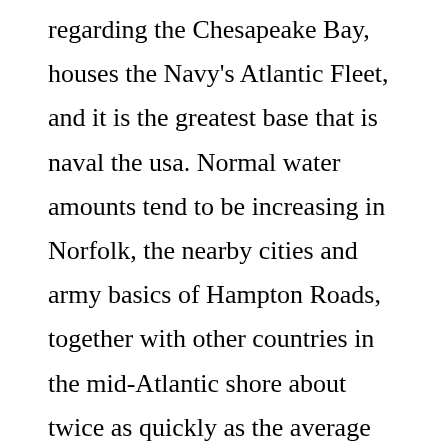regarding the Chesapeake Bay, houses the Navy's Atlantic Fleet, and it is the greatest base that is naval the usa. Normal water amounts tend to be increasing in Norfolk, the nearby cities and army basics of Hampton Roads, together with other countries in the mid-Atlantic shore about twice as quickly as the average that is global. Whenever Secretary that is former of John Kerry went to the beds base in 2015 and requested naval officials just how long it might continue to be useful, one of these informed him, 'Twenty to